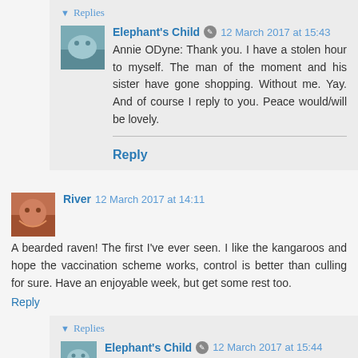▼ Replies
Elephant's Child ✎ 12 March 2017 at 15:43
Annie ODyne: Thank you. I have a stolen hour to myself. The man of the moment and his sister have gone shopping. Without me. Yay. And of course I reply to you. Peace would/will be lovely.
Reply
River  12 March 2017 at 14:11
A bearded raven! The first I've ever seen. I like the kangaroos and hope the vaccination scheme works, control is better than culling for sure. Have an enjoyable week, but get some rest too.
Reply
▼ Replies
Elephant's Child ✎ 12 March 2017 at 15:44